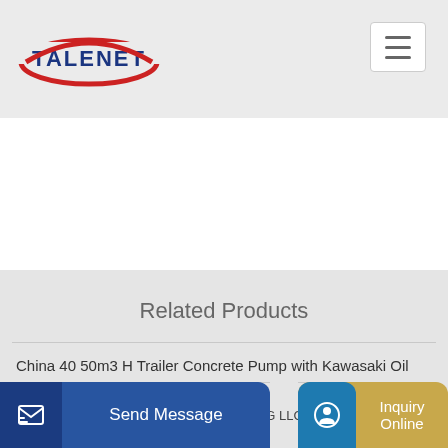[Figure (logo): TALENET logo with red oval/swoosh and blue bold text]
Related Products
China 40 50m3 H Trailer Concrete Pump with Kawasaki Oil
x tec concrete batching plant price in indonesia hzs120
G LLC
Send Message
Inquiry Online